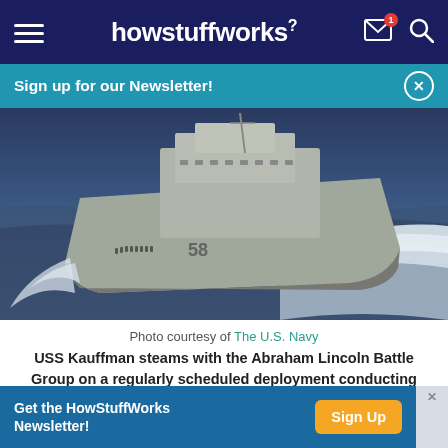howstuffworks
Sign up for our Newsletter!
[Figure (photo): USS Kauffman (numbered 58) sailing at sea, creating a white wake, with crew members visible on deck. The ship is gray and photographed from a forward angle.]
Photo courtesy of The U.S. Navy
USS Kauffman steams with the Abraham Lincoln Battle Group on a regularly scheduled deployment conducting combat missions in support of Operation Enduring Freedom.
Get the HowStuffWorks Newsletter!